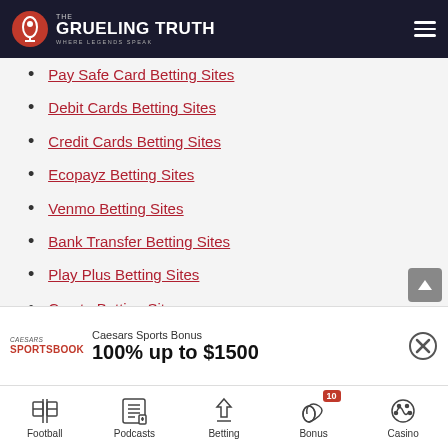The Grueling Truth — Where Legends Speak
Pay Safe Card Betting Sites
Debit Cards Betting Sites
Credit Cards Betting Sites
Ecopayz Betting Sites
Venmo Betting Sites
Bank Transfer Betting Sites
Play Plus Betting Sites
Crypto Betting Sites
ACH Betting Sites
Discover Betting Sites
PayNearMe Betting Sites
Visa Betting Sites
Caesars Sports Bonus
100% up to $1500
Football | Podcasts | Betting | Bonus 10 | Casino